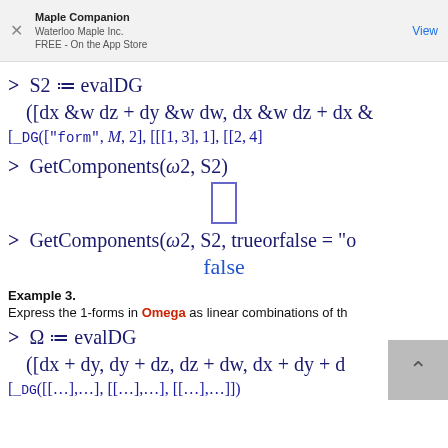Maple Companion
Waterloo Maple Inc.
FREE - On the App Store
Example 3.
Express the 1-forms in Omega as linear combinations of th…